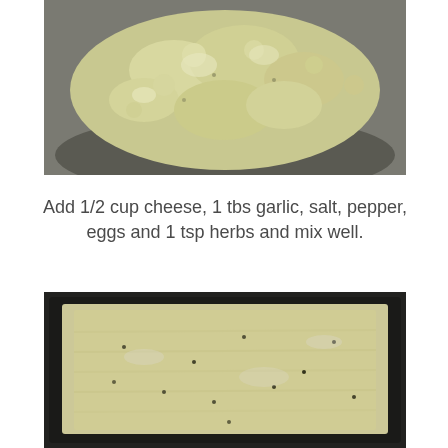[Figure (photo): Close-up photo of a crumbly cauliflower rice mixture in a metal bowl, pale yellow and white in color]
Add 1/2 cup cheese, 1 tbs garlic, salt, pepper, eggs and 1 tsp herbs and mix well.
[Figure (photo): Photo of cauliflower rice mixture spread evenly on a dark baking tray, pale yellow with black pepper specks visible]